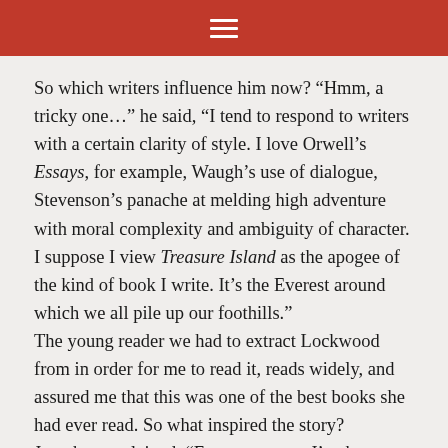☰
So which writers influence him now? “Hmm, a tricky one…” he said, “I tend to respond to writers with a certain clarity of style. I love Orwell’s Essays, for example, Waugh’s use of dialogue, Stevenson’s panache at melding high adventure with moral complexity and ambiguity of character. I suppose I view Treasure Island as the apogee of the kind of book I write. It’s the Everest around which we all pile up our foothills.”
The young reader we had to extract Lockwood from in order for me to read it, reads widely, and assured me that this was one of the best books she had ever read. So what inspired the story? Jonathan explained, “For some years I’ve been keen to try my hand at a ghost story – I’ve always been partial to fine chilling tales. I wasn’t